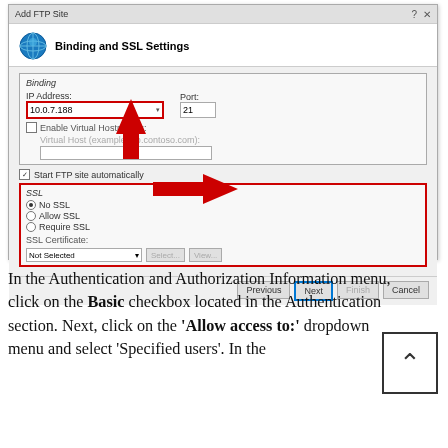[Figure (screenshot): Windows IIS Add FTP Site dialog showing Binding and SSL Settings page. IP Address field shows 10.0.7.188 with red border, Port shows 21, Enable Virtual Hostnames checkbox, Start FTP site automatically checkbox checked, SSL section with red border showing No SSL radio selected, Allow SSL, Require SSL options, SSL Certificate dropdown showing Not Selected, and navigation buttons Previous, Next (highlighted), Finish, Cancel. Red arrows point to IP address field (up), SSL section (left), and Next button (down).]
In the Authentication and Authorization Information menu, click on the Basic checkbox located in the Authentication section. Next, click on the 'Allow access to:' dropdown menu and select 'Specified users'. In the